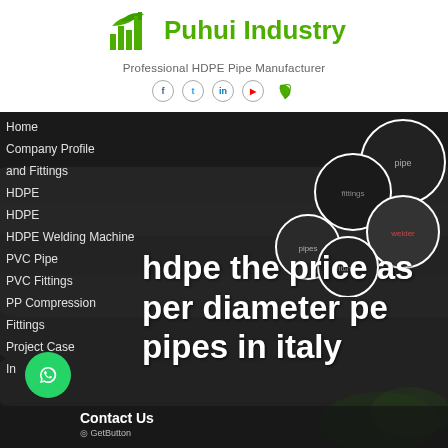[Figure (logo): Puhui Industry logo with green plant/factory icon]
Puhui Industry
Professional HDPE Pipe Manufacturer
[Figure (photo): Large dark background image of HDPE pipes stacked outdoors with overlay circular product photos of pipe fittings, compression fittings, welding machines]
Home
Company Profile
and Fittings
HDPE
HDPE
HDPE Welding Machine
PVC Pipe
PVC Fittings
PP Compression Fittings
Project Case
In
hdpe the price as per diameter pe pipes in italy
Contact Us
GetButton